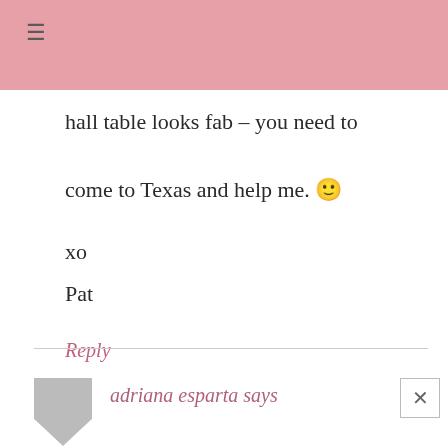≡
hall table looks fab – you need to come to Texas and help me. 🙂

xo

Pat
Reply
adriana esparta says